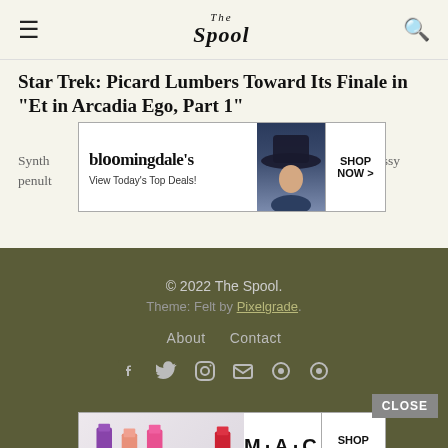The Spool
Star Trek: Picard Lumbers Toward Its Finale in “Et in Arcadia Ego, Part 1”
Synth... messy penult...
[Figure (screenshot): Bloomingdale's banner advertisement: logo, 'View Today's Top Deals!', woman with hat, SHOP NOW button]
© 2022 The Spool. Theme: Felt by Pixelgrade. About Contact
[Figure (screenshot): M·A·C cosmetics banner advertisement with lipsticks and SHOP NOW button]